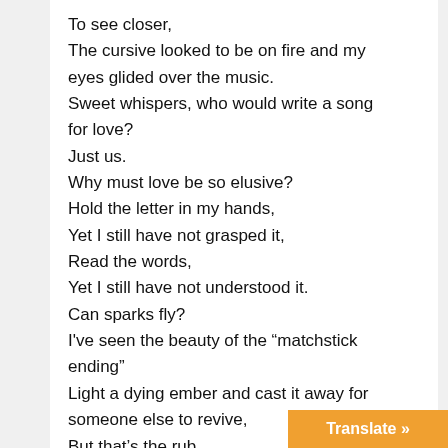To see closer,
The cursive looked to be on fire and my eyes glided over the music.
Sweet whispers, who would write a song for love?
Just us.
Why must love be so elusive?
Hold the letter in my hands,
Yet I still have not grasped it,
Read the words,
Yet I still have not understood it.
Can sparks fly?
I've seen the beauty of the “matchstick ending”
Light a dying ember and cast it away for someone else to revive,
But that’s the rub,
We grasp hot coals and drag bla[...]
through the mud,
Translate »